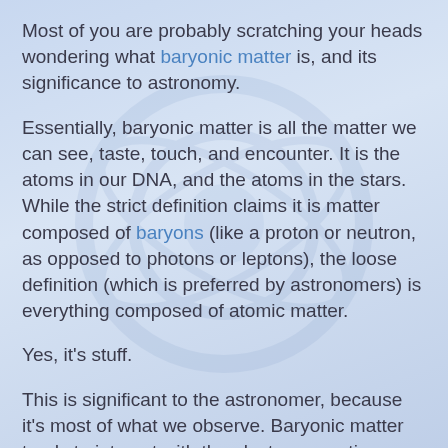Most of you are probably scratching your heads wondering what baryonic matter is, and its significance to astronomy.
Essentially, baryonic matter is all the matter we can see, taste, touch, and encounter. It is the atoms in our DNA, and the atoms in the stars. While the strict definition claims it is matter composed of baryons (like a proton or neutron, as opposed to photons or leptons), the loose definition (which is preferred by astronomers) is everything composed of atomic matter.
Yes, it's stuff.
This is significant to the astronomer, because it's most of what we observe. Baryonic matter tends to interact with the electromagnetic spectrum. Pretty much everything we know about the universe we know purely through observation. It's rare we send out probes and robots (like Opportunity on Mars) to physically sample stuff. Everything else we know came to us through observation of the interaction of BM with the EM.